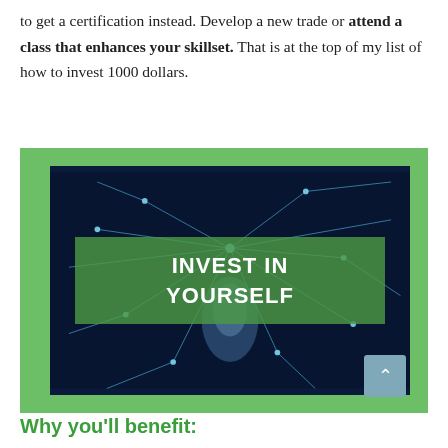to get a certification instead. Develop a new trade or attend a class that enhances your skillset. That is at the top of my list of how to invest 1000 dollars.
[Figure (illustration): Image with green background border containing a dark blue neural network photo with a semi-transparent green banner overlay reading 'INVEST IN YOURSELF' in bold white uppercase text.]
Why you'll benefit: